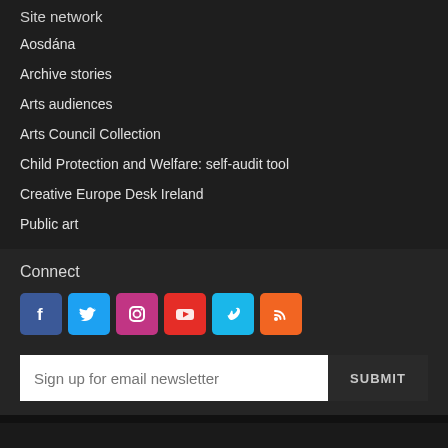Site network
Aosdána
Archive stories
Arts audiences
Arts Council Collection
Child Protection and Welfare: self-audit tool
Creative Europe Desk Ireland
Public art
Connect
[Figure (other): Social media icons: Facebook, Twitter, Instagram, YouTube, Vimeo, RSS]
Sign up for email newsletter [SUBMIT]